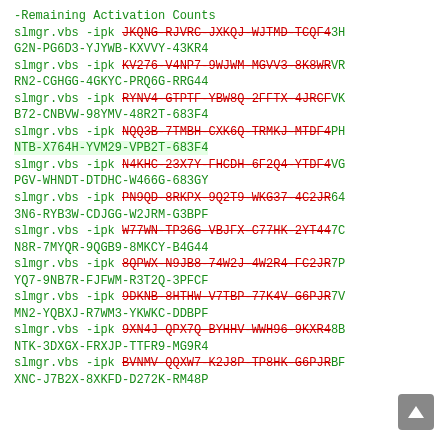-Remaining Activation Counts
slmgr.vbs -ipk JKQNG-RJVRC-JXKQJ-WJTMD-TCQF43HG2N-PG6D3-YJYWB-KXVVY-43KR4
slmgr.vbs -ipk KV276-V4NP7-9WJWM-MGVV3-8K8WRVRRN2-CGHGG-4GKYC-PRQ6G-RRG44
slmgr.vbs -ipk RYNV4-GTPTF-YBW8Q-2FFTX-4JRCFVKB72-CNBVW-98YMV-48R2T-683F4
slmgr.vbs -ipk NQQ3B-7TMBH-CXK6Q-TRMKJ-MTDF4PHNTB-X764H-YVM29-VPB2T-683F4
slmgr.vbs -ipk N4KHC-23X7Y-FHCDH-6F2Q4-YTDF4VGPGV-WHNDT-DTDHC-W466G-683GY
slmgr.vbs -ipk PN9QD-8RKPX-9Q2T9-WKG37-4C2JR643N6-RYB3W-CDJGG-W2JRM-G3BPF
slmgr.vbs -ipk W77WN-TP36G-VBJFX-C77HK-2YT447CN8R-7MYQR-9QGB9-8MKCY-B4G44
slmgr.vbs -ipk 8QPWX-N9JB8-74W2J-4W2R4-FC2JR7PYQ7-9NB7R-FJFWM-R3T2Q-3PFCF
slmgr.vbs -ipk 9DKNB-8HTHW-V7TBP-77K4V-G6PJR7VMN2-YQBXJ-R7WM3-YKWKC-DDBPF
slmgr.vbs -ipk 9XN4J-QPX7Q-BYHHV-WWH96-9KXR48BNTK-3DXGX-FRXJP-TTFR9-MG9R4
slmgr.vbs -ipk BVNMV-QQXW7-K2J8P-TP8HK-G6PJRBFXNC-J7B2X-8XKFD-D272K-RM48P